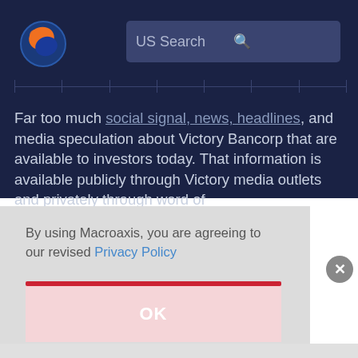[Figure (logo): Macroaxis logo — globe with orange and blue design]
US Search
[Figure (screenshot): Navigation bar with tick marks on dark navy background]
Far too much social signal, news, headlines, and media speculation about Victory Bancorp that are available to investors today. That information is available publicly through Victory media outlets and privately through word of
By using Macroaxis, you are agreeing to our revised Privacy Policy
OK